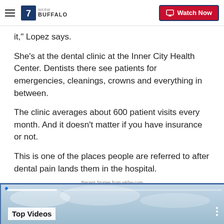7 BUFFALO | Watch Now
it,” Lopez says.
She’s at the dental clinic at the Inner City Health Center. Dentists there see patients for emergencies, cleanings, crowns and everything in between.
The clinic averages about 600 patient visits every month. And it doesn’t matter if you have insurance or not.
This is one of the places people are referred to after dental pain lands them in the hospital.
Recent Stories from wkbw.com
[Figure (screenshot): Top Videos thumbnail section with a blurred sky/cloud background image]